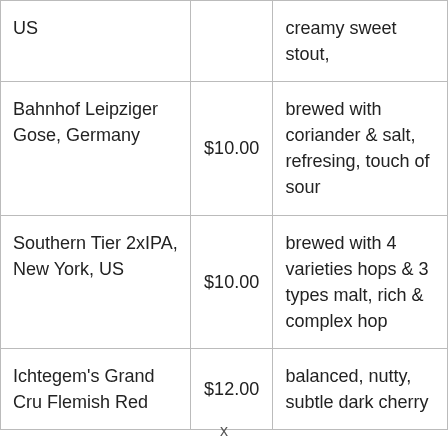| US |  | creamy sweet stout, |
| Bahnhof Leipziger Gose, Germany | $10.00 | brewed with coriander & salt, refresing, touch of sour |
| Southern Tier 2xIPA, New York, US | $10.00 | brewed with 4 varieties hops & 3 types malt, rich & complex hop |
| Ichtegem's Grand Cru Flemish Red | $12.00 | balanced, nutty, subtle dark cherry |